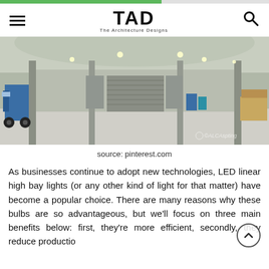TAD — The Architecture Designs
[Figure (photo): Interior of a large warehouse with high ceilings, concrete floors, and a blue forklift on the left side. Multiple support columns and a large roller shutter door are visible.]
source: pinterest.com
As businesses continue to adopt new technologies, LED linear high bay lights (or any other kind of light for that matter) have become a popular choice. There are many reasons why these bulbs are so advantageous, but we'll focus on three main benefits below: first, they're more efficient, secondly, they reduce production